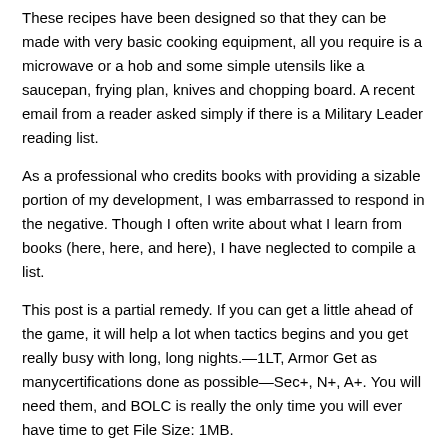These recipes have been designed so that they can be made with very basic cooking equipment, all you require is a microwave or a hob and some simple utensils like a saucepan, frying plan, knives and chopping board. A recent email from a reader asked simply if there is a Military Leader reading list.
As a professional who credits books with providing a sizable portion of my development, I was embarrassed to respond in the negative. Though I often write about what I learn from books (here, here, and here), I have neglected to compile a list.
This post is a partial remedy. If you can get a little ahead of the game, it will help a lot when tactics begins and you get really busy with long, long nights.—1LT, Armor Get as manycertifications done as possible—Sec+, N+, A+. You will need them, and BOLC is really the only time you will ever have time to get File Size: 1MB.
HRC "Soldiers First!" U.S. Army Human Resources Command "Soldiers First!" United States Army Human Resources Command "Soldiers First!" Site Map. Login. Logout () The security accreditation level of this site is UNCLASSIFIED and below.